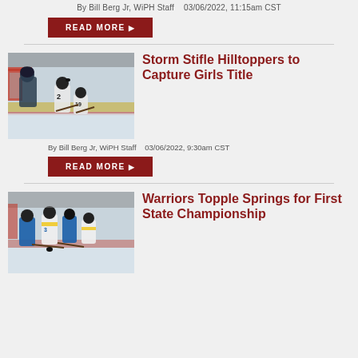By Bill Berg Jr, WiPH Staff   03/06/2022, 11:15am CST
READ MORE
[Figure (photo): Ice hockey action photo showing players near a goal, one player wearing number 2, another wearing number 19, in a girls hockey game]
Storm Stifle Hilltoppers to Capture Girls Title
By Bill Berg Jr, WiPH Staff   03/06/2022, 9:30am CST
READ MORE
[Figure (photo): Ice hockey action photo showing players battling for the puck near the boards, players in blue and gold uniforms]
Warriors Topple Springs for First State Championship